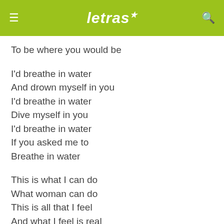letras
To be where you would be
I'd breathe in water
And drown myself in you
I'd breathe in water
Dive myself in you
I'd breathe in water
If you asked me to
Breathe in water
This is what I can do
What woman can do
This is all that I feel
And what I feel is real